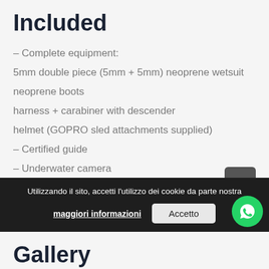Included
– Complete equipment:
5mm double piece (5mm + 5mm) neoprene wetsuit
neoprene boots
harness + carabiner with descender
helmet (GOPRO sled attachments supplied)
– Certified guide
– Underwater camera
Utilizzando il sito, accetti l'utilizzo dei cookie da parte nostra maggiori informazioni Accetto
Gallery